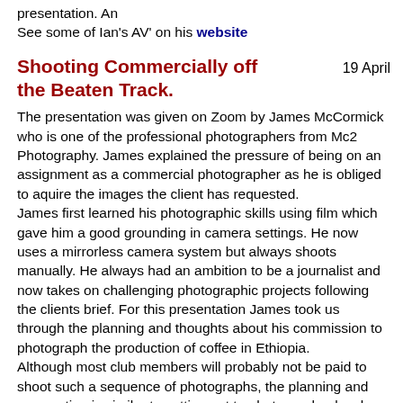presentation. An
See some of Ian's AV' on his website
Shooting Commercially off the Beaten Track.    19 April
The presentation was given on Zoom by James McCormick who is one of the professional photographers from Mc2 Photography. James explained the pressure of being on an assignment as a commercial photographer as he is obliged to aquire the images the client has requested.
James first learned his photographic skills using film which gave him a good grounding in camera settings. He now uses a mirrorless camera system but always shoots manually. He always had an ambition to be a journalist and now takes on challenging photographic projects following the clients brief. For this presentation James took us through the planning and thoughts about his commission to photograph the production of coffee in Ethiopia.
Although most club members will probably not be paid to shoot such a sequence of photographs, the planning and preparation is similar to setting out to photograph a local event or some local